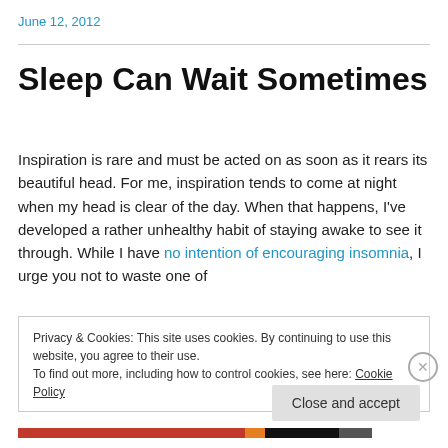June 12, 2012
Sleep Can Wait Sometimes
Inspiration is rare and must be acted on as soon as it rears its beautiful head. For me, inspiration tends to come at night when my head is clear of the day. When that happens, I've developed a rather unhealthy habit of staying awake to see it through. While I have no intention of encouraging insomnia, I urge you not to waste one of
Privacy & Cookies: This site uses cookies. By continuing to use this website, you agree to their use.
To find out more, including how to control cookies, see here: Cookie Policy